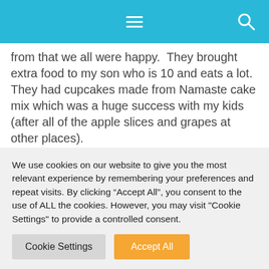from that we all were happy.  They brought extra food to my son who is 10 and eats a lot.  They had cupcakes made from Namaste cake mix which was a huge success with my kids (after all of the apple slices and grapes at other places).
OTHER
1. We did give our kids extra digestive enzymes to help in case of cross-contamination or if something was not actually allergen free.
We use cookies on our website to give you the most relevant experience by remembering your preferences and repeat visits. By clicking “Accept All”, you consent to the use of ALL the cookies. However, you may visit "Cookie Settings" to provide a controlled consent.